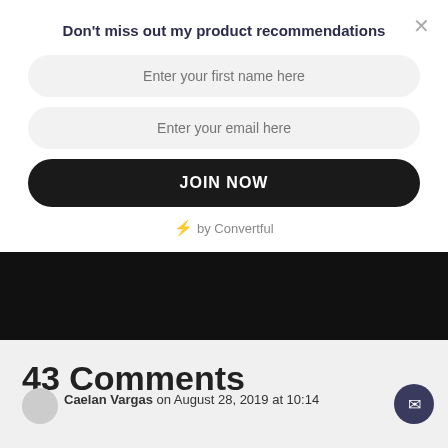Don't miss out my product recommendations
[Figure (screenshot): Email sign-up modal with two input fields (Enter your first name here, Enter your email here), a JOIN NOW button, and a 'by Convertful' label]
by Convertful
43 Comments
Caelan Vargas on August 28, 2019 at 10:14